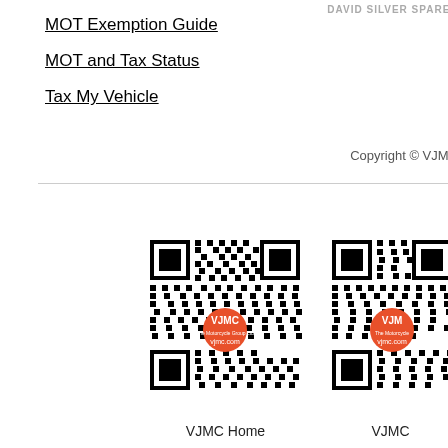MOT Exemption Guide
MOT and Tax Status
Tax My Vehicle
Copyright © VJMC
[Figure (other): QR code with orange VJMC logo center, linking to VJMC home page]
[Figure (other): QR code with orange VJMC logo center, partially visible, second VJMC link]
VJMC Home
VJMC